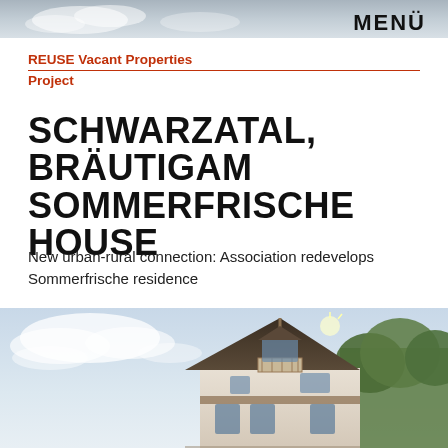[Figure (photo): Decorative top strip showing a blurred exterior photo]
MENÜ
REUSE Vacant Properties
Project
SCHWARZATAL, BRÄUTIGAM SOMMERFRISCHE HOUSE
New urban-rural connection: Association redevelops Sommerfrische residence
[Figure (photo): Photograph of the Sommerfrische house in Schwarzatal — a historic white and brown villa with gabled roof and balcony, set against a partly cloudy sky with green trees at right.]